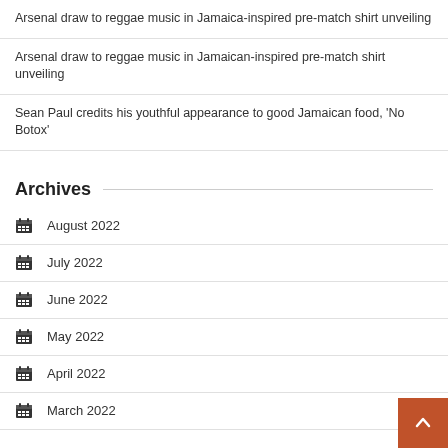Arsenal draw to reggae music in Jamaica-inspired pre-match shirt unveiling
Arsenal draw to reggae music in Jamaican-inspired pre-match shirt unveiling
Sean Paul credits his youthful appearance to good Jamaican food, 'No Botox'
Archives
August 2022
July 2022
June 2022
May 2022
April 2022
March 2022